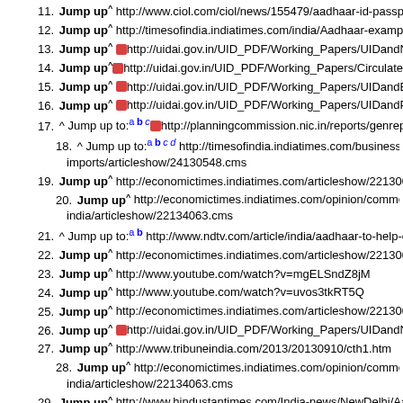11. Jump up^ http://www.ciol.com/ciol/news/155479/aadhaar-id-passport-application
12. Jump up^ http://timesofindia.indiatimes.com/india/Aadhaar-example-of-using-te
13. Jump up^ http://uidai.gov.in/UID_PDF/Working_Papers/UIDandNREGA.pdf
14. Jump up^ http://uidai.gov.in/UID_PDF/Working_Papers/Circulated_Aadhaar_PDS
15. Jump up^ http://uidai.gov.in/UID_PDF/Working_Papers/UIDandEducation.pdf
16. Jump up^ http://uidai.gov.in/UID_PDF/Working_Papers/UIDandPublicHealth.pdf
17. ^ Jump up to: a b c http://planningcommission.nic.in/reports/genrep/rep_uid_cba_p
18. ^ Jump up to: a b c d http://timesofindia.indiatimes.com/business/india-business/D imports/articleshow/24130548.cms
19. Jump up^ http://economictimes.indiatimes.com/articleshow/22130067.cms
20. Jump up^ http://economictimes.indiatimes.com/opinion/comments-analysis/ill-co india/articleshow/22134063.cms
21. ^ Jump up to: a b http://www.ndtv.com/article/india/aadhaar-to-help-eradicate-pove
22. Jump up^ http://economictimes.indiatimes.com/articleshow/22130067.cms)
23. Jump up^ http://www.youtube.com/watch?v=mgELSndZ8jM
24. Jump up^ http://www.youtube.com/watch?v=uvos3tkRT5Q
25. Jump up^ http://economictimes.indiatimes.com/articleshow/22130067.cms)
26. Jump up^ http://uidai.gov.in/UID_PDF/Working_Papers/UIDandNREGA.pdf
27. Jump up^ http://www.tribuneindia.com/2013/20130910/cth1.htm
28. Jump up^ http://economictimes.indiatimes.com/opinion/comments-analysis/ill-co india/articleshow/22134063.cms
29. Jump up^ http://www.hindustantimes.com/India-news/NewDelhi/Aadhaar-remai
30. Jump up^ http://www.ciol.com/ciol/news/123133/uidai-success-national-progress
31. Jump up^ http://www.ciol.com/ciol/news/155179/aadhaar-mandatory-voluntary-o
32. Jump up^ http://timesofindia.india.com/india/No-apex-court-relief-to-govt-o